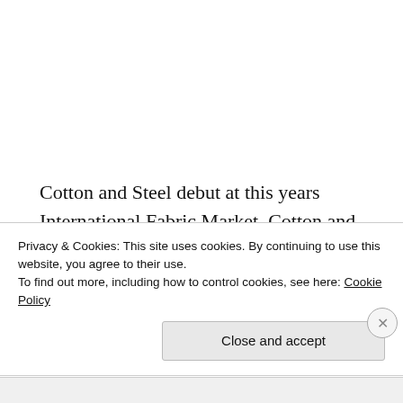Cotton and Steel debut at this years International Fabric Market. Cotton and Steel is a collaboration of 5 spectacular designers , Melody Miller, Rashida Coleman-Hale, Alexia Abegg, Kim Kight, and Sarah Watts from cotton...
Privacy & Cookies: This site uses cookies. By continuing to use this website, you agree to their use.
To find out more, including how to control cookies, see here: Cookie Policy
Close and accept